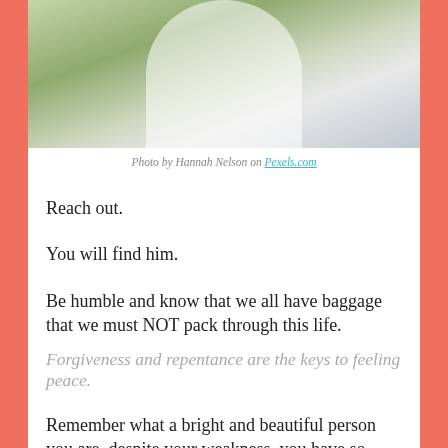[Figure (photo): A person in a white flowing dress/garment photographed from above, surrounded by green foliage and white flowers]
Photo by Hannah Nelson on Pexels.com
Reach out.
You will find him.
Be humble and know that we all have baggage that we must NOT pack through this life.
Forgiveness and repentance are the keys to feeling peace.
Remember what a bright and beautiful person you are, despite your weakness, you have so much to offer this world.